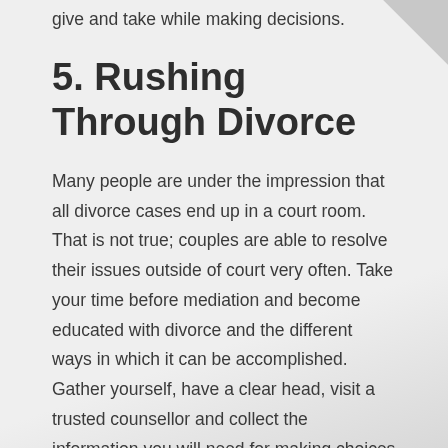give and take while making decisions.
5. Rushing Through Divorce
Many people are under the impression that all divorce cases end up in a court room. That is not true; couples are able to resolve their issues outside of court very often. Take your time before mediation and become educated with divorce and the different ways in which it can be accomplished. Gather yourself, have a clear head, visit a trusted counsellor and collect the information you will need for making choices during mediation. Slow and steady wins the race.